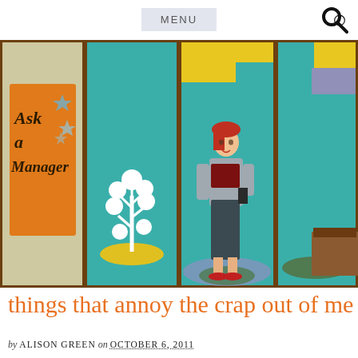MENU
[Figure (illustration): Ask a Manager website banner illustration. Four panel retro-style illustration: leftmost panel shows beige background with orange sign reading 'Ask a Manager' with sparkle stars; second panel shows teal background with white decorative tree on yellow oval base; third panel shows teal background with yellow and teal geometric shapes in upper area and a red-haired woman in retro business attire (grey blazer, dark skirt, red heels) standing on a purple circle; fourth panel shows teal background with partial view of green oval and grey furniture.]
things that annoy the crap out of me
by ALISON GREEN on OCTOBER 6, 2011